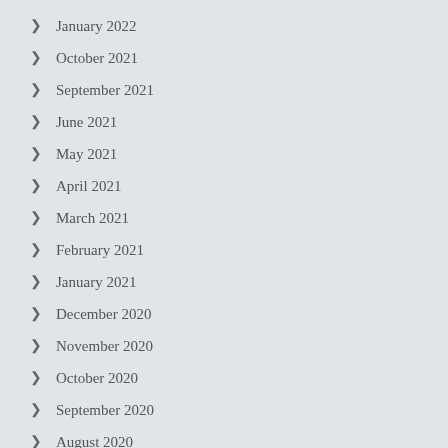January 2022
October 2021
September 2021
June 2021
May 2021
April 2021
March 2021
February 2021
January 2021
December 2020
November 2020
October 2020
September 2020
August 2020